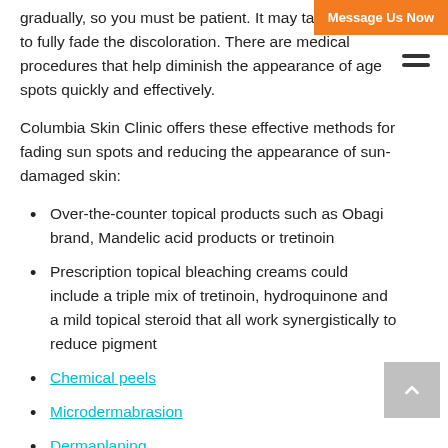gradually, so you must be patient. It may take months to fully fade the discoloration. There are medical procedures that help diminish the appearance of age spots quickly and effectively.
Columbia Skin Clinic offers these effective methods for fading sun spots and reducing the appearance of sun-damaged skin:
Over-the-counter topical products such as Obagi brand, Mandelic acid products or tretinoin
Prescription topical bleaching creams could include a triple mix of tretinoin, hydroquinone and a mild topical steroid that all work synergistically to reduce pigment
Chemical peels
Microdermabrasion
Dermaplaning